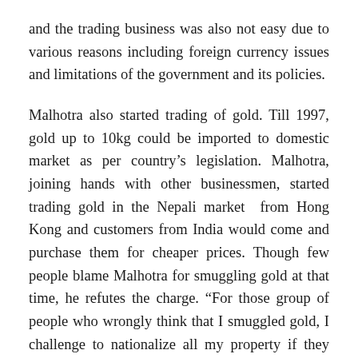and the trading business was also not easy due to various reasons including foreign currency issues and limitations of the government and its policies.
Malhotra also started trading of gold. Till 1997, gold up to 10kg could be imported to domestic market as per country's legislation. Malhotra, joining hands with other businessmen, started trading gold in the Nepali market from Hong Kong and customers from India would come and purchase them for cheaper prices. Though few people blame Malhotra for smuggling gold at that time, he refutes the charge. “For those group of people who wrongly think that I smuggled gold, I challenge to nationalize all my property if they can prove I smuggled even a gram of gold.”